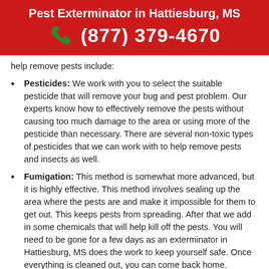Pest Exterminator in Hattiesburg, MS
(877) 379-4670
help remove pests include:
Pesticides: We work with you to select the suitable pesticide that will remove your bug and pest problem. Our experts know how to effectively remove the pests without causing too much damage to the area or using more of the pesticide than necessary. There are several non-toxic types of pesticides that we can work with to help remove pests and insects as well.
Fumigation: This method is somewhat more advanced, but it is highly effective. This method involves sealing up the area where the pests are and make it impossible for them to get out. This keeps pests from spreading. After that we add in some chemicals that will help kill off the pests. You will need to be gone for a few days as an exterminator in Hattiesburg, MS does the work to keep yourself safe. Once everything is cleaned out, you can come back home.
Sterilizing: We can also sterilize the area to make sure that